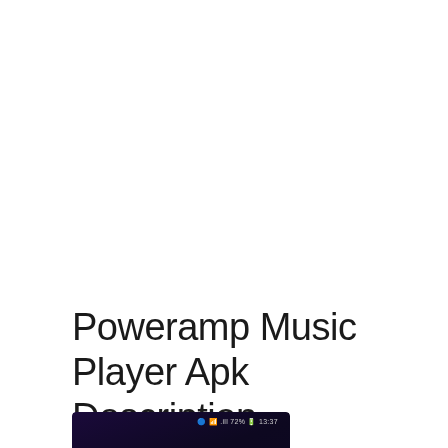Poweramp Music Player Apk Description
[Figure (screenshot): Partial screenshot of Poweramp Music Player app showing dark blue/purple background with status bar showing 72% battery and time 13:37, with a partial circular arc/wave graphic visible]